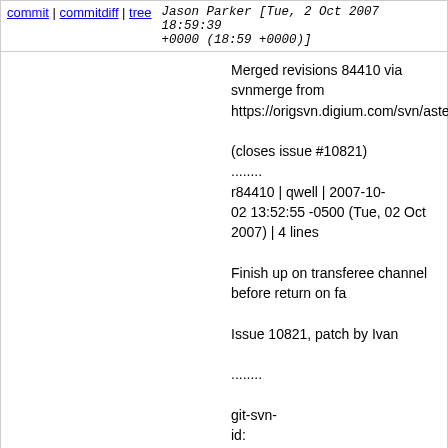commit | commitdiff | tree    Jason Parker [Tue, 2 Oct 2007 18:59:39 +0000 (18:59 +0000)]
Merged revisions 84410 via svnmerge from https://origsvn.digium.com/svn/asterisk/branches/1

(closes issue #10821)
........
r84410 | qwell | 2007-10-02 13:52:55 -0500 (Tue, 02 Oct 2007) | 4 lines

Finish up on transferee channel before return on fa

Issue 10821, patch by Ivan

........

git-svn-id: https://origsvn.digium.com/svn/asterisk/trunk@6c06-0410-ace0-fbb531ad65f3
14 years ago    Add MSet for people who prefer the old, deprecated syntax of Set (Closes issue #10549)
commit | commitdiff | tree    Tilghman Lesher [Tue, 2 Oct 2007 18:12:49 +0000 (18:12 +0000)]
Add MSet for people who prefer the old, deprecate